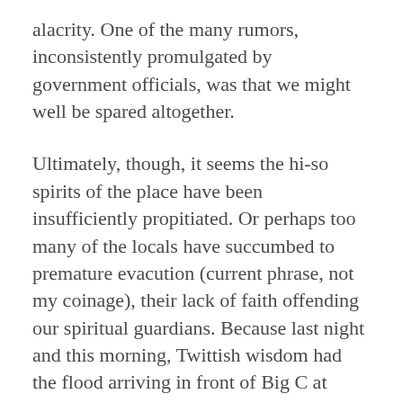alacrity. One of the many rumors, inconsistently promulgated by government officials, was that we might well be spared altogether.
Ultimately, though, it seems the hi-so spirits of the place have been insufficiently propitiated. Or perhaps too many of the locals have succumbed to premature evacution (current phrase, not my coinage), their lack of faith offending our spiritual guardians. Because last night and this morning, Twittish wisdom had the flood arriving in front of Big C at Saphan Kwai. Since, however, we've been given to understand that this was not the flood proper, but only prophylactic pumping of the